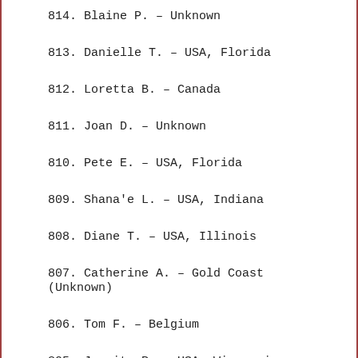814. Blaine P. – Unknown
813. Danielle T. – USA, Florida
812. Loretta B. – Canada
811. Joan D. – Unknown
810. Pete E. – USA, Florida
809. Shana'e L. – USA, Indiana
808. Diane T. – USA, Illinois
807. Catherine A. – Gold Coast (Unknown)
806. Tom F. – Belgium
805. Juanita P. – USA, Wisconsin